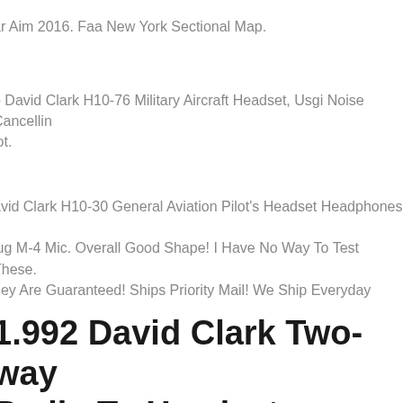ar Aim 2016. Faa New York Sectional Map.
b David Clark H10-76 Military Aircraft Headset, Usgi Noise Cancelling lot.
avid Clark H10-30 General Aviation Pilot's Headset Headphones 2 lug M-4 Mic. Overall Good Shape! I Have No Way To Test These. hey Are Guaranteed! Ships Priority Mail! We Ship Everyday
1.992 David Clark Two-way Radio To Headset Adapter Model C3003 - Pilot Avionics